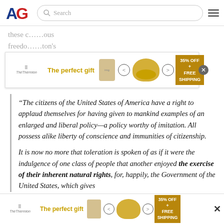AG [logo] Search [hamburger menu]
these ... ous
freedo... ton's
letter to the Touro synagogue.
[Figure (screenshot): Advertisement banner: 'The perfect gift' with food bowl image, navigation arrows, and '35% OFF + FREE SHIPPING' promotional badge. Close button on right.]
“The citizens of the United States of America have a right to applaud themselves for having given to mankind examples of an enlarged and liberal policy—a policy worthy of imitation. All possess alike liberty of conscience and immunities of citizenship.

It is now no more that toleration is spoken of as if it were the indulgence of one class of people that another enjoyed the exercise of their inherent natural rights, for, happily, the Government of the United States, which gives
[Figure (screenshot): Advertisement banner at bottom: 'The perfect gift' with food bowl image, navigation arrows, and '35% OFF + FREE SHIPPING' promotional badge. Close button on right.]